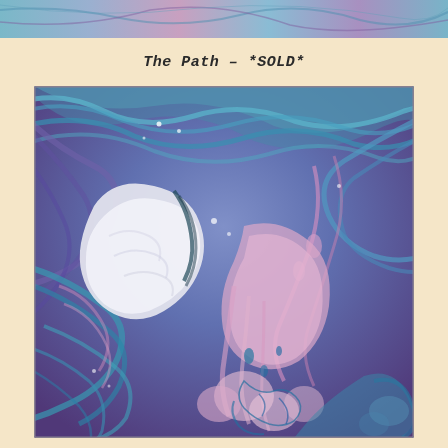[Figure (photo): Top strip of a painting partially visible at the very top of the page, showing abstract fluid art with blue and purple swirling colors.]
The Path – *SOLD*
[Figure (photo): Abstract fluid acrylic pour painting titled 'The Path'. The painting shows swirling patterns of teal/turquoise blue, purple, pink, and white paint. A large white cloud-like shape dominates the upper-center area, surrounded by flowing blue swirls and pink drips. The lower portion has large pink and white bubble-like forms with teal outlines. The overall effect is reminiscent of a cosmic or fluid landscape.]